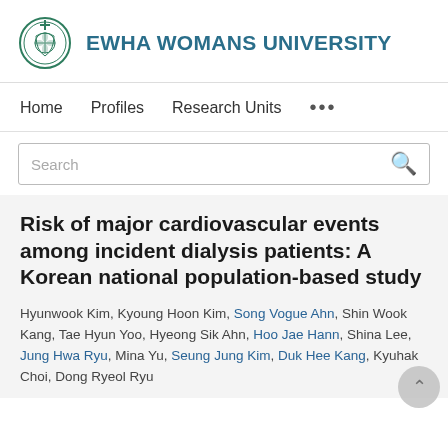EWHA WOMANS UNIVERSITY
Home   Profiles   Research Units   ...
Search
Risk of major cardiovascular events among incident dialysis patients: A Korean national population-based study
Hyunwook Kim, Kyoung Hoon Kim, Song Vogue Ahn, Shin Wook Kang, Tae Hyun Yoo, Hyeong Sik Ahn, Hoo Jae Hann, Shina Lee, Jung Hwa Ryu, Mina Yu, Seung Jung Kim, Duk Hee Kang, Kyuhak Choi, Dong Ryeol Ryu